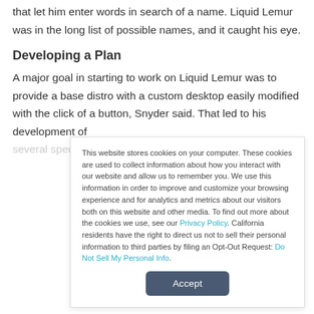that let him enter words in search of a name. Liquid Lemur was in the long list of possible names, and it caught his eye.
Developing a Plan
A major goal in starting to work on Liquid Lemur was to provide a base distro with a custom desktop easily modified with the click of a button, Snyder said. That led to his development of several specialized tools bundled into the releases
This website stores cookies on your computer. These cookies are used to collect information about how you interact with our website and allow us to remember you. We use this information in order to improve and customize your browsing experience and for analytics and metrics about our visitors both on this website and other media. To find out more about the cookies we use, see our Privacy Policy. California residents have the right to direct us not to sell their personal information to third parties by filing an Opt-Out Request: Do Not Sell My Personal Info.
Accept